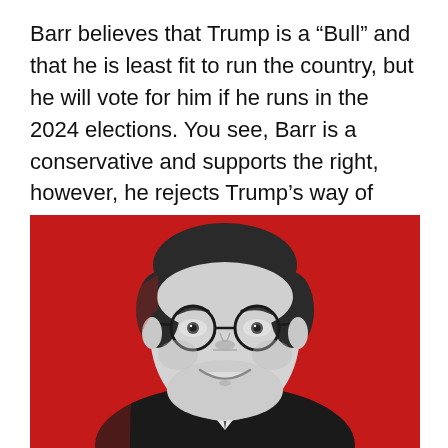Barr believes that Trump is a “Bull” and that he is least fit to run the country, but he will vote for him if he runs in the 2024 elections. You see, Barr is a conservative and supports the right, however, he rejects Trump’s way of ruling for some reason.
[Figure (photo): Black and white portrait photo of William Barr smiling, wearing glasses and a dark suit, cut out against a bright red background.]